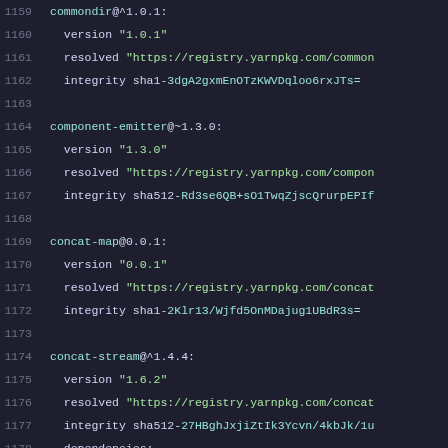1159  commondir@^1.0.1:
1160    version "1.0.1"
1161    resolved "https://registry.yarnpkg.com/common
1162    integrity sha1-3dgA2gxmEnOTzKWVDqloo6rxJTs=
1163
1164  component-emitter@~1.3.0:
1165    version "1.3.0"
1166    resolved "https://registry.yarnpkg.com/compon
1167    integrity sha512-Rd3se6QB+sO1TwqZjscQrurpEPIf
1168
1169  concat-map@0.0.1:
1170    version "0.0.1"
1171    resolved "https://registry.yarnpkg.com/concat
1172    integrity sha1-2Klr13/Wjfd5OnMDajug1UBdR3s=
1173
1174  concat-stream@^1.4.4:
1175    version "1.6.2"
1176    resolved "https://registry.yarnpkg.com/concat
1177    integrity sha512-27HBghJxjiZtIk3Ycvn/4kbJk/1u
1178    dependencies:
1179      buffer-from "^1.0.0"
1180      inherits "^2.0.3"